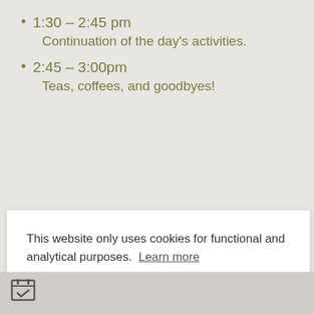1:30 – 2:45 pm
Continuation of the day's activities.
2:45 – 3:00pm
Teas, coffees, and goodbyes!
This website only uses cookies for functional and analytical purposes. Learn more
Got it!